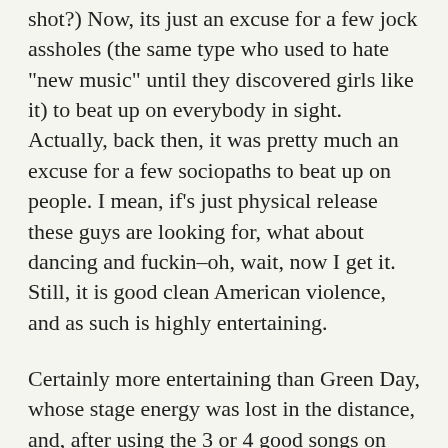shot?) Now, its just an excuse for a few jock assholes (the same type who used to hate "new music" until they discovered girls like it) to beat up on everybody in sight. Actually, back then, it was pretty much an excuse for a few sociopaths to beat up on people. I mean, if's just physical release these guys are looking for, what about dancing and fuckin-oh, wait, now I get it. Still, it is good clean American violence, and as such is highly entertaining.
Certainly more entertaining than Green Day, whose stage energy was lost in the distance, and, after using the 3 or 4 good songs on Dookie! early on, decided to jam on riffs from MTV metal faves from the 80's. While I'm sure they thought playing bits from songs like "Metal Health," "Rock You Like A Hurricane," etc